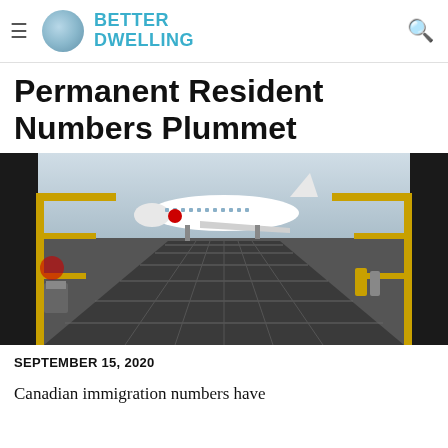BETTER DWELLING
Permanent Resident Numbers Plummet
[Figure (photo): Airport cargo loading area with Air Canada airplane visible on tarmac in the background, photographed from inside a cargo hold looking outward through yellow railings and metal grating]
SEPTEMBER 15, 2020
Canadian immigration numbers have